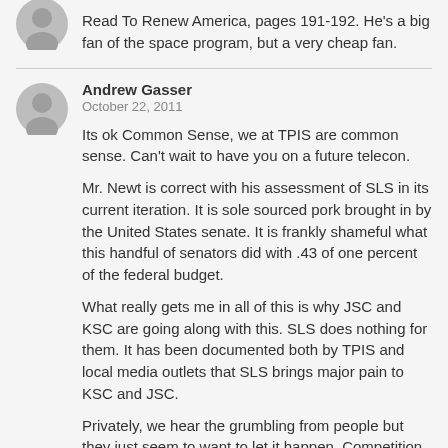Read To Renew America, pages 191-192. He's a big fan of the space program, but a very cheap fan.
Andrew Gasser
October 22, 2011
Its ok Common Sense, we at TPIS are common sense. Can't wait to have you on a future telecon.
Mr. Newt is correct with his assessment of SLS in its current iteration. It is sole sourced pork brought in by the United States senate. It is frankly shameful what this handful of senators did with .43 of one percent of the federal budget.
What really gets me in all of this is why JSC and KSC are going along with this. SLS does nothing for them. It has been documented both by TPIS and local media outlets that SLS brings major pain to KSC and JSC.
Privately, we hear the grumbling from people but they just seem to want to let it happen. Competition is good. NASA should set the standards for that competition and get the heck out of the way. NASA has a huge roll to play in our next space age.